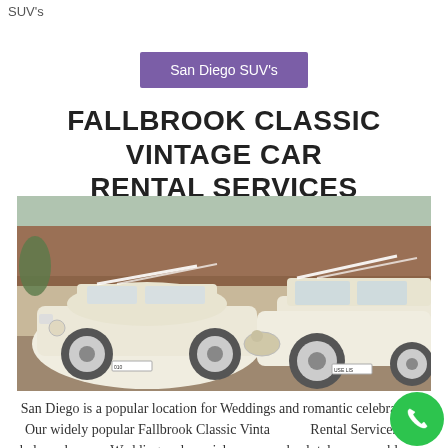SUV's
San Diego SUV's
FALLBROOK CLASSIC VINTAGE CAR RENTAL SERVICES
[Figure (photo): Two classic vintage white Rolls Royce limousines decorated with white ribbons parked outside a brick building]
San Diego is a popular location for Weddings and romantic celebrations. Our widely popular Fallbrook Classic Vintage Car Rental Services will help make your Wedding and special event an absolutely memorable one with vehicles like Classic Rolls Royce and